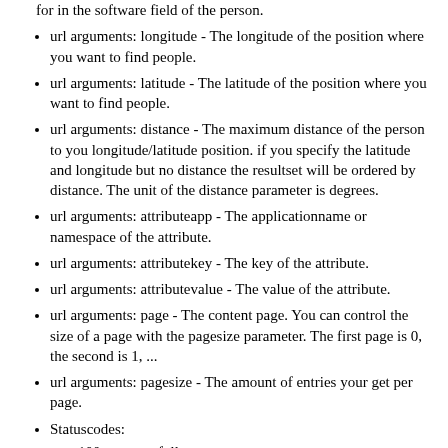for in the software field of the person.
url arguments: longitude - The longitude of the position where you want to find people.
url arguments: latitude - The latitude of the position where you want to find people.
url arguments: distance - The maximum distance of the person to you longitude/latitude position. if you specify the latitude and longitude but no distance the resultset will be ordered by distance. The unit of the distance parameter is degrees.
url arguments: attributeapp - The applicationname or namespace of the attribute.
url arguments: attributekey - The key of the attribute.
url arguments: attributevalue - The value of the attribute.
url arguments: page - The content page. You can control the size of a page with the pagesize parameter. The first page is 0, the second is 1, ...
url arguments: pagesize - The amount of entries your get per page.
Statuscodes:
100 - successfull
102 - more than 1000 people found. it is not allowed to fetch such a big resultset. please